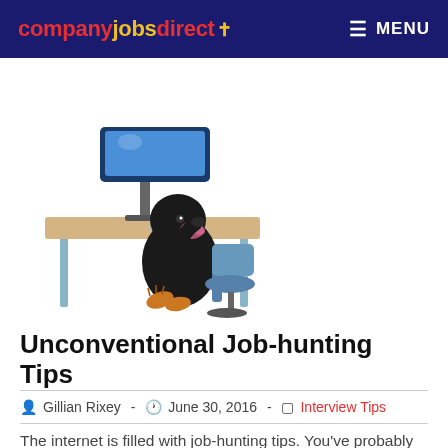company jobs direct  MENU
[Figure (illustration): Cartoon mole sitting at a desk using a computer]
Unconventional Job-hunting Tips
Gillian Rixey  -  June 30, 2016  -  Interview Tips
The internet is filled with job-hunting tips. You've probably read some that say obvious things like 'be assertive', 'promote yourself' or 'network'. Wisdom like this is all very nice, but it's difficult to see how it actually helps and can actually lead to more discouragement. What does it actually mean to be assertive? How do you promote yourself? Who in the world actually networks? Networking is for cheesy lounge-lizards in a shiny